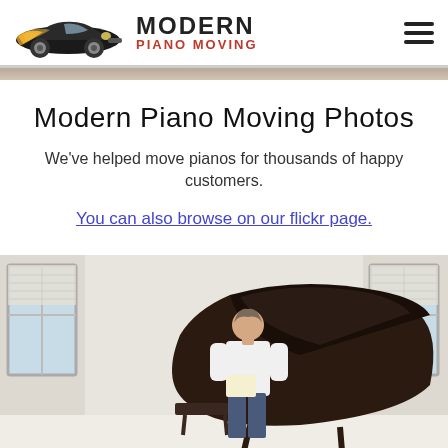[Figure (logo): Modern Piano Moving logo with a stylized car graphic and company name text]
[Figure (photo): Hero banner strip showing a partial background image]
Modern Piano Moving Photos
We've helped move pianos for thousands of happy customers.
You can also browse on our flickr page.
[Figure (photo): A woman in a white sweater standing in front of a grand piano in a bright room with windows]